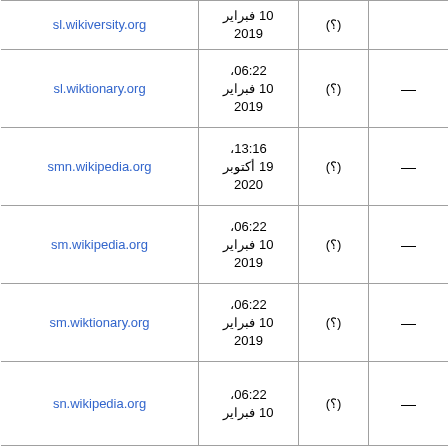| — | (؟) | 10 فبراير
2019 | sl.wikiversity.org |
| — | (؟) | 06:22،
10 فبراير
2019 | sl.wiktionary.org |
| — | (؟) | 13:16،
19 أكتوبر
2020 | smn.wikipedia.org |
| — | (؟) | 06:22،
10 فبراير
2019 | sm.wikipedia.org |
| — | (؟) | 06:22،
10 فبراير
2019 | sm.wiktionary.org |
| — | (؟) | 06:22،
10 فبراير | sn.wikipedia.org |